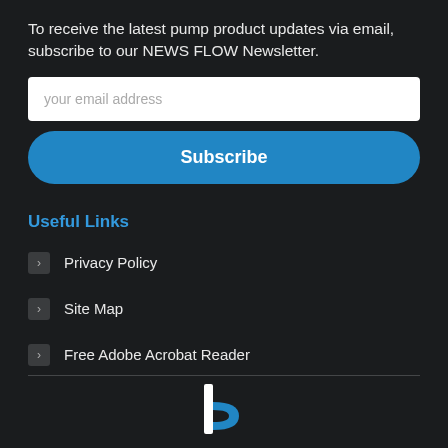To receive the latest pump product updates via email, subscribe to our NEWS FLOW Newsletter.
[Figure (screenshot): Email input field with placeholder text 'your email address']
[Figure (screenshot): Blue Subscribe button with rounded corners]
Useful Links
Privacy Policy
Site Map
Free Adobe Acrobat Reader
[Figure (logo): Company logo — stylized letter 'b' in blue and white]